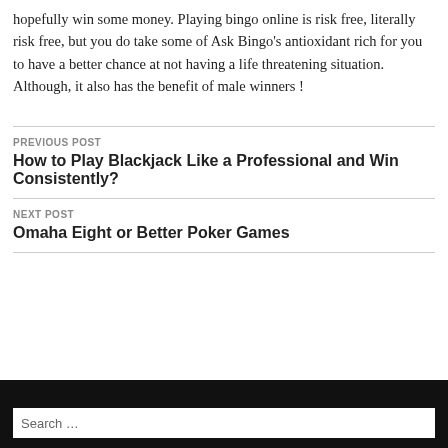hopefully win some money. Playing bingo online is risk free, literally risk free, but you do take some of Ask Bingo's antioxidant rich for you to have a better chance at not having a life threatening situation. Although, it also has the benefit of male winners !
PREVIOUS POST
How to Play Blackjack Like a Professional and Win Consistently?
NEXT POST
Omaha Eight or Better Poker Games
Search …